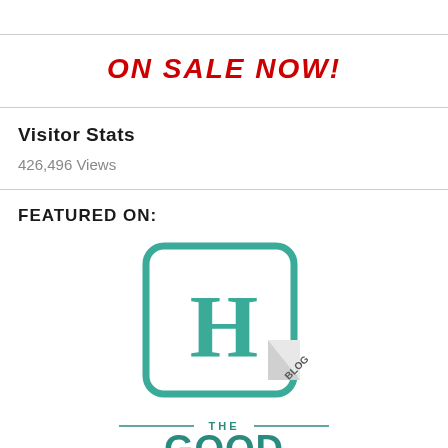ON SALE NOW!
Visitor Stats
426,496 Views
FEATURED ON:
[Figure (logo): HJ Blog logo — teal rounded square with large H letterform and 'BLOG' text on a folded corner ribbon]
[Figure (logo): The Good Men Project logo — teal text reading THE GOOD MEN (partially visible)]